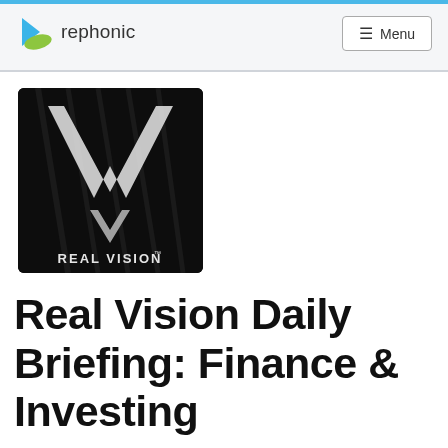rephonic  ≡ Menu
[Figure (logo): Real Vision podcast cover art — black background with large white distressed V chevron logo and 'REAL VISION™' text below it]
Real Vision Daily Briefing: Finance & Investing